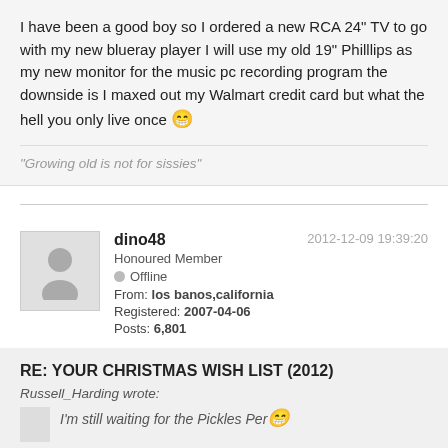I have been a good boy so I ordered a new RCA 24" TV to go with my new blueray player I will use my old 19" Philllips as my new monitor for the music pc recording program the downside is I maxed out my Walmart credit card but what the hell you only live once 😁
"Growing old is not for sissies"
2012-12-09 19:39:20
dino48
Honoured Member
Offline
From: los banos,california
Registered: 2007-04-06
Posts: 6,801
RE: YOUR CHRISTMAS WISH LIST (2012)
Russell_Harding wrote:
I'm still waiting for the Pickles Per😁